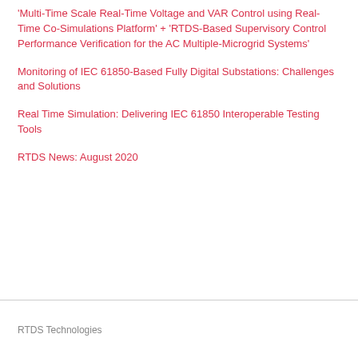'Multi-Time Scale Real-Time Voltage and VAR Control using Real-Time Co-Simulations Platform' + 'RTDS-Based Supervisory Control Performance Verification for the AC Multiple-Microgrid Systems'
Monitoring of IEC 61850-Based Fully Digital Substations: Challenges and Solutions
Real Time Simulation: Delivering IEC 61850 Interoperable Testing Tools
RTDS News: August 2020
RTDS Technologies